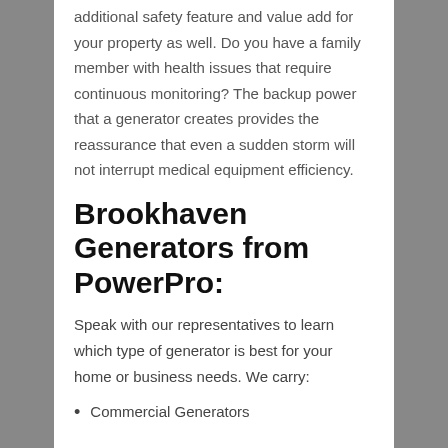additional safety feature and value add for your property as well. Do you have a family member with health issues that require continuous monitoring? The backup power that a generator creates provides the reassurance that even a sudden storm will not interrupt medical equipment efficiency.
Brookhaven Generators from PowerPro:
Speak with our representatives to learn which type of generator is best for your home or business needs. We carry:
Commercial Generators